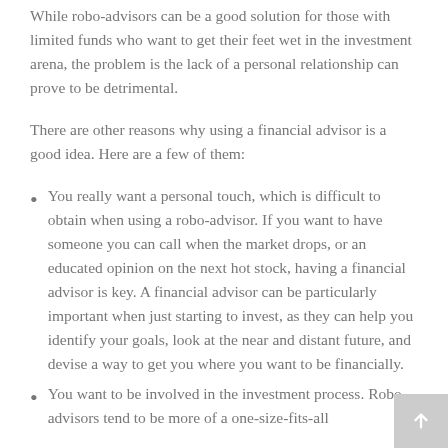While robo-advisors can be a good solution for those with limited funds who want to get their feet wet in the investment arena, the problem is the lack of a personal relationship can prove to be detrimental.
There are other reasons why using a financial advisor is a good idea. Here are a few of them:
You really want a personal touch, which is difficult to obtain when using a robo-advisor. If you want to have someone you can call when the market drops, or an educated opinion on the next hot stock, having a financial advisor is key. A financial advisor can be particularly important when just starting to invest, as they can help you identify your goals, look at the near and distant future, and devise a way to get you where you want to be financially.
You want to be involved in the investment process. Robo-advisors tend to be more of a one-size-fits-all